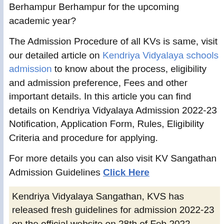Berhampur Berhampur for the upcoming academic year?
The Admission Procedure of all KVs is same, visit our detailed article on Kendriya Vidyalaya schools admission to know about the process, eligibility and admission preference, Fees and other important details. In this article you can find details on Kendriya Vidyalaya Admission 2022-23 Notification, Application Form, Rules, Eligibility Criteria and procedure for applying.
For more details you can also visit KV Sangathan Admission Guidelines Click Here
Kendriya Vidyalaya Sangathan, KVS has released fresh guidelines for admission 2022-23 on the official website on 28th of Feb 2022.
Class I Kendriya Vidyalaya